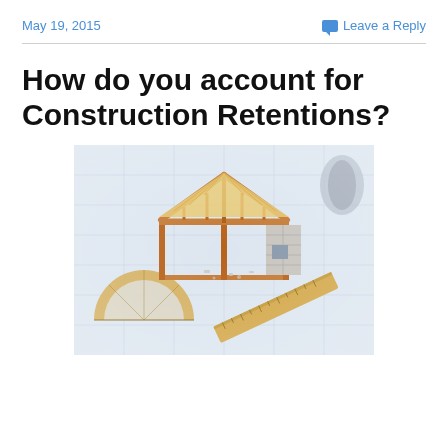May 19, 2015    Leave a Reply
How do you account for Construction Retentions?
[Figure (photo): A miniature architectural model of a house frame (wood and concrete block construction) placed on top of blueprint drawings, with a wooden ruler and protractor visible in the foreground — illustrating construction planning.]